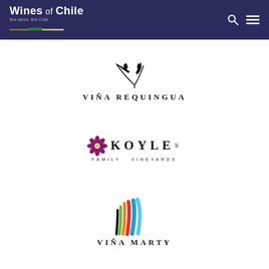Wines of Chile
[Figure (logo): Viña Requingua logo: stylized bird/branch graphic above text VIÑA REQUINGUA in spaced serif capitals]
[Figure (logo): Koyle Family Vineyards logo: purple flower icon to the left of KOYLE in large serif bold caps, with FAMILY VINEYARDS in small spaced capitals below]
[Figure (logo): Viña Marty logo: colorful curved swoosh lines (blue, red, orange, green, black) above text VIÑA MARTY in spaced serif capitals]